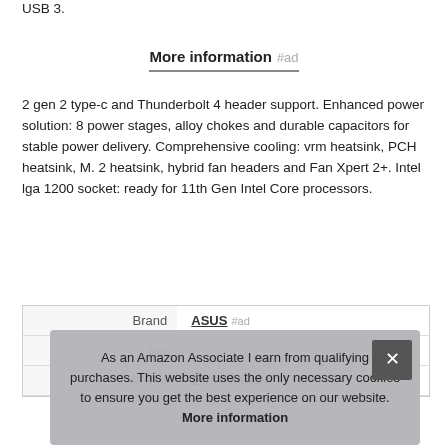USB 3.
More information #ad
2 gen 2 type-c and Thunderbolt 4 header support. Enhanced power solution: 8 power stages, alloy chokes and durable capacitors for stable power delivery. Comprehensive cooling: vrm heatsink, PCH heatsink, M. 2 heatsink, hybrid fan headers and Fan Xpert 2+. Intel lga 1200 socket: ready for 11th Gen Intel Core processors.
|  |  |
| --- | --- |
| Brand | ASUS #ad |
| Ma |  |
| Weight | 2.95 Pounds |
As an Amazon Associate I earn from qualifying purchases. This website uses the only necessary cookies to ensure you get the best experience on our website. More information